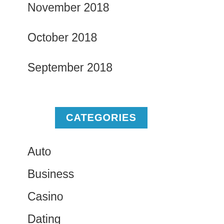November 2018
October 2018
September 2018
CATEGORIES
Auto
Business
Casino
Dating
Education
Entertainment
Fashion
Featured